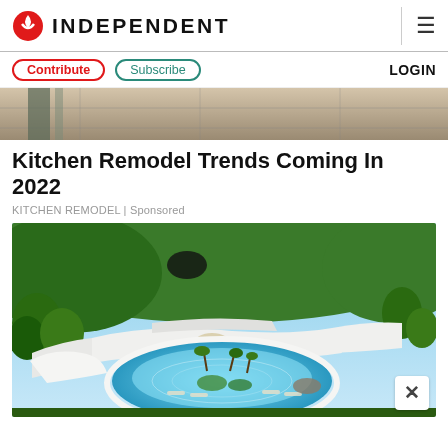INDEPENDENT
Contribute | Subscribe | LOGIN
[Figure (photo): Cropped architectural interior image showing ceiling/glass detail — top strip]
Kitchen Remodel Trends Coming In 2022
KITCHEN REMODEL | Sponsored
[Figure (photo): Aerial rendering of a modern luxury white villa with a large oval swimming pool surrounded by tropical greenery and palm trees, with a city skyline visible in the background]